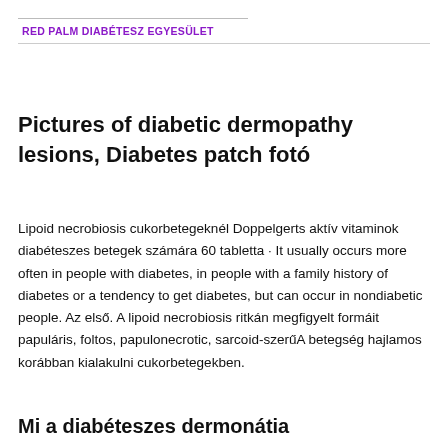RED PALM DIABÉTESZ EGYESÜLET
Pictures of diabetic dermopathy lesions, Diabetes patch fotó
Lipoid necrobiosis cukorbetegeknél Doppelgerts aktív vitaminok diabéteszes betegek számára 60 tabletta · It usually occurs more often in people with diabetes, in people with a family history of diabetes or a tendency to get diabetes, but can occur in nondiabetic people. Az első. A lipoid necrobiosis ritkán megfigyelt formáit papuláris, foltos, papulonecrotic, sarcoid-szerűA betegség hajlamos korábban kialakulni cukorbetegekben.
Mi a diabéteszes dermonátia